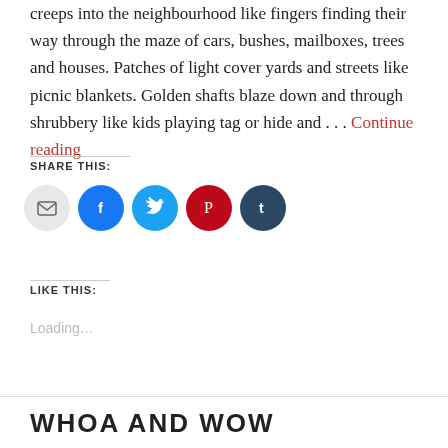creeps into the neighbourhood like fingers finding their way through the maze of cars, bushes, mailboxes, trees and houses. Patches of light cover yards and streets like picnic blankets. Golden shafts blaze down and through shrubbery like kids playing tag or hide and . . . Continue reading
SHARE THIS:
[Figure (infographic): Five social sharing icon circles: email (grey), Facebook (blue), Twitter (cyan), Pinterest (red), Tumblr (dark navy)]
LIKE THIS:
Loading...
WHOA AND WOW